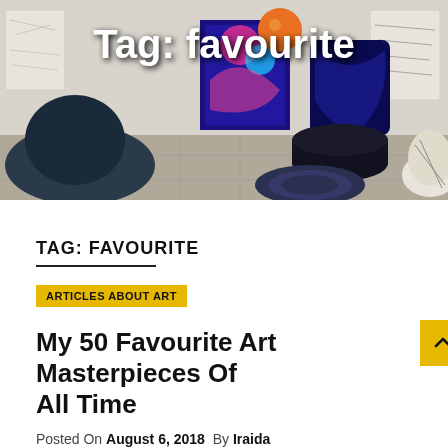[Figure (photo): Art installation scene with colorful beanbags, patterned cushions, and abstract artwork pieces on a tiled floor, with the text 'Tag: favourite' overlaid in white bold font at the top]
Tag: favourite
TAG: FAVOURITE
ARTICLES ABOUT ART
My 50 Favourite Art Masterpieces Of All Time
Posted On August 6, 2018  By Iraida
The origin of the word “artwork” may be traced